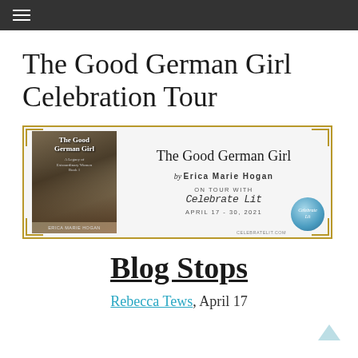☰ (navigation menu)
The Good German Girl Celebration Tour
[Figure (illustration): Book tour banner for 'The Good German Girl' by Erica Marie Hogan. Shows the book cover on the left (a woman with long hair in a moody/foggy setting), and text on the right reading 'The Good German Girl by Erica Marie Hogan on tour with Celebrate Lit April 17 - 30, 2021'. Gold decorative corner accents and a Celebrate Lit circular badge at bottom right.]
Blog Stops
Rebecca Tews, April 17